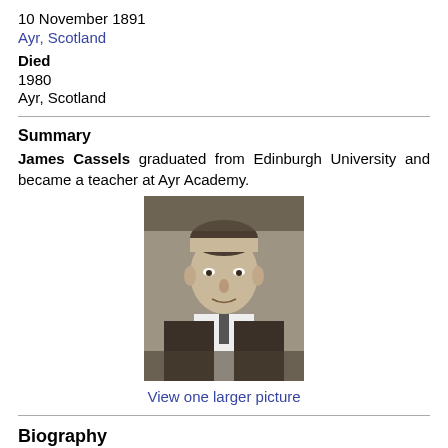10 November 1891
Ayr, Scotland
Died
1980
Ayr, Scotland
Summary
James Cassels graduated from Edinburgh University and became a teacher at Ayr Academy.
[Figure (photo): Black and white portrait photograph of James Cassels, a middle-aged man in a suit with short hair.]
View one larger picture
Biography